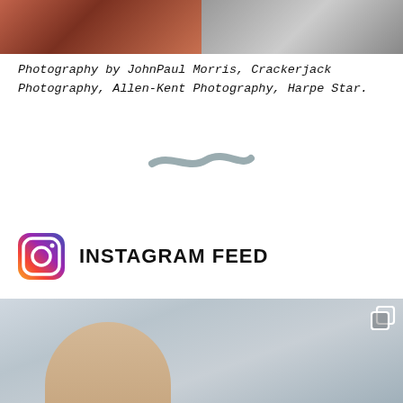[Figure (photo): Two photos side by side: left shows people in red clothing, right shows a person outdoors on gravel]
Photography by JohnPaul Morris, Crackerjack Photography, Allen-Kent Photography, Harpe Star.
[Figure (illustration): Decorative wavy squiggle/divider line in grey]
INSTAGRAM FEED
[Figure (photo): Instagram feed photo showing a woman with blonde hair in an office or indoor setting with windows. A multi-photo icon overlay appears in the top right corner.]